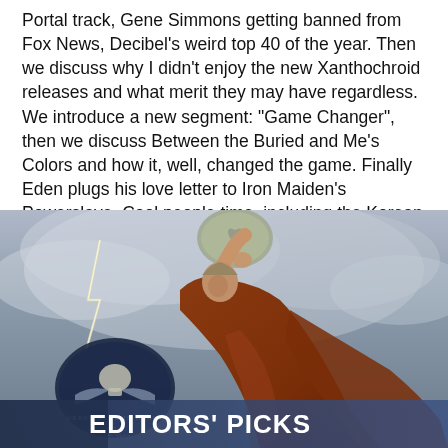Portal track, Gene Simmons getting banned from Fox News, Decibel's weird top 40 of the year. Then we discuss why I didn't enjoy the new Xanthochroid releases and what merit they may have regardless. We introduce a new segment: "Game Changer", then we discuss Between the Buried and Me's Colors and how it, well, changed the game. Finally Eden plugs his love letter to Iron Maiden's Powerslave. Cool people time, including the Korean Netflix show Stranger, then five movies Eden saw at a sci-fi festival, and the superhero simulator Megaton Rainfall. Enjoy!
[Figure (illustration): Dramatic painting of a robed figure raising a stone tablet amid stormy clouds and lightning, with a 'Heavy Blog is Heavy' logo medallion overlay and an 'Editors' Picks' banner at the bottom.]